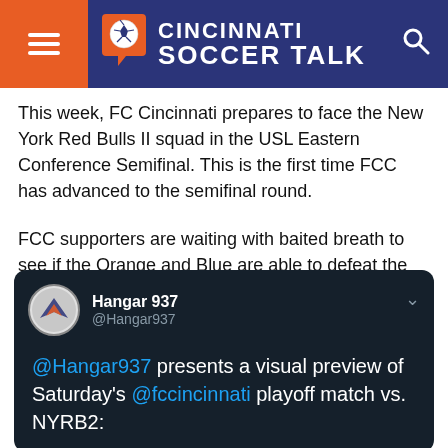Cincinnati Soccer Talk
This week, FC Cincinnati prepares to face the New York Red Bulls II squad in the USL Eastern Conference Semifinal. This is the first time FCC has advanced to the semifinal round.
FCC supporters are waiting with baited breath to see if the Orange and Blue are able to defeat the Baby Bulls. If FCC wins, it will advance to the USL Eastern Conference finals in hopes of winning the USL Cup in its final year before moving to MLS.
[Figure (screenshot): Embedded tweet from @Hangar937 reading: '@Hangar937 presents a visual preview of Saturday's @fccincinnati playoff match vs. NYRB2:']